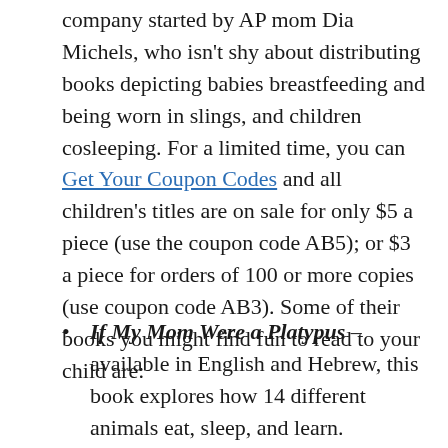company started by AP mom Dia Michels, who isn't shy about distributing books depicting babies breastfeeding and being worn in slings, and children cosleeping. For a limited time, you can Get Your Coupon Codes and all children's titles are on sale for only $5 a piece (use the coupon code AB5); or $3 a piece for orders of 100 or more copies (use coupon code AB3). Some of their books you might find fun to read to your child are:
If My Mom Were a Platypus – available in English and Hebrew, this book explores how 14 different animals eat, sleep, and learn.
Come Home Soon, Baby Brother! – a must-read coloring book for siblings of a baby in